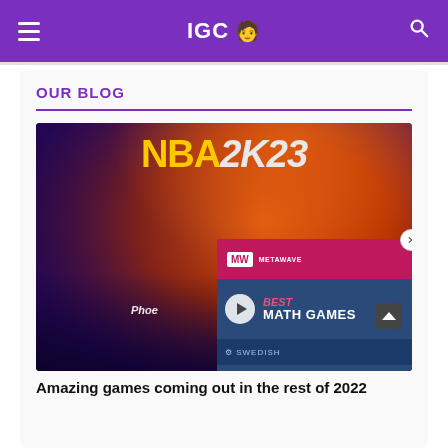IGC
OUR BLOG
[Figure (screenshot): NBA 2K23 game cover art showing a female basketball player in a Phoenix Suns jersey against a fiery orange-purple background, with an overlaid video advertisement for 'Best Math Games' featuring the MW (MetaWave) logo and a Swedish sponsor logo]
Amazing games coming out in the rest of 2022